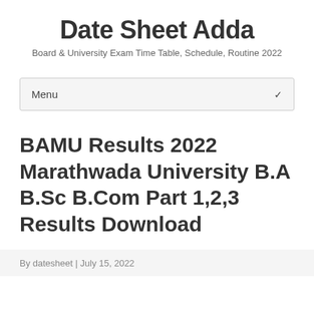Date Sheet Adda
Board & University Exam Time Table, Schedule, Routine 2022
Menu
BAMU Results 2022 Marathwada University B.A B.Sc B.Com Part 1,2,3 Results Download
By datesheet | July 15, 2022